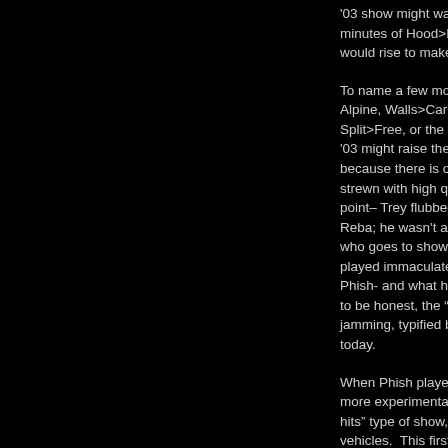'03 show might want to throw its two cents into the conversation. Even 25 minutes of Hood>Bowie from Charlotte might want to speak. Many shows would rise to make a case.
To name a few more argument makers; the entire June run, Clifford Ball, Alpine, Walls>Carini from the LA Forum sending its Valentine, the Went Split>Free, or the Chicago show followed by the Cincy that closed out Fall '03 might raise their hands to be called upon. I could go on and on, because there is often so much trash talked about these years. '03-'04 is strewn with high quality shows and great jams. People will make the point– Trey flubbed too many composed licks of Stash, or slop-jammed Reba; he wasn't as accurate on the technical aspects of the music. But who goes to shows with the primary goal of hearing the composed parts played immaculately? There are albums and 1993 tapes for precision-Phish- and what has always been the essence of Phish is improv. And to be honest, the "post-hiatus" period was heavy in improvisational jamming, typified by the dark-horse show in Camden on July 12, 2003 today.
When Phish played two-night stands, the first night was usually more experimental jamming, while night two was more of a "greatest hits" type of show, reserved for more of the crowd favorites and safer vehicles. This first night in Camden of '03 follows this pattern. It is one of the strongest shows from '03-'04. In looking at this show, you will find that Phish, while their sound was ever evolving, and Trey's tone was distorted, were still producing heavy improvisational music.